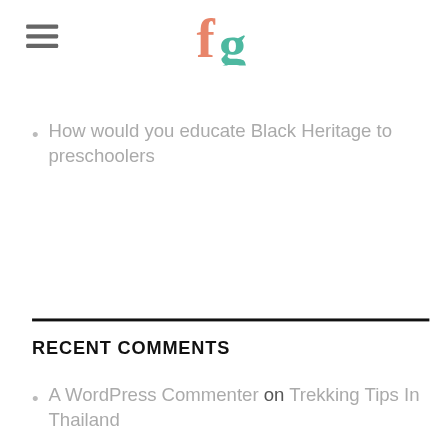How would you educate Black Heritage to preschoolers
RECENT COMMENTS
A WordPress Commenter on Trekking Tips In Thailand
ARCHIVES